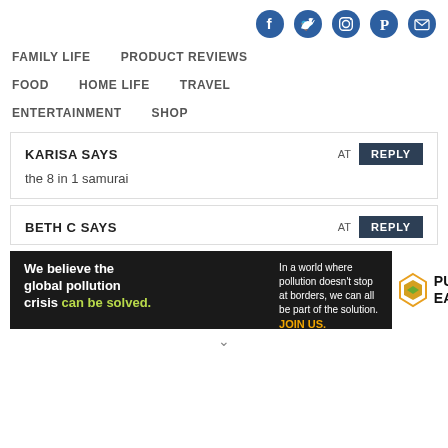Social media icons: Facebook, Twitter, Instagram, Pinterest, Email
FAMILY LIFE
PRODUCT REVIEWS
FOOD
HOME LIFE
TRAVEL
ENTERTAINMENT
SHOP
KARISA SAYS AT REPLY
the 8 in 1 samurai
BETH C SAYS AT REPLY
[Figure (infographic): Pure Earth advertisement banner: 'We believe the global pollution crisis can be solved. In a world where pollution doesn't stop at borders, we can all be part of the solution. JOIN US.' with Pure Earth logo.]